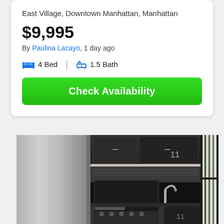East Village, Downtown Manhattan, Manhattan
$9,995
By Paulina Lacayo, 1 day ago
4 Bed  |  1.5 Bath
Check Availability
[Figure (photo): Interior kitchen photo showing stainless steel appliances including a range stove, refrigerator, microwave, dark cabinetry, black backsplash, and a window with dark frames on the right side]